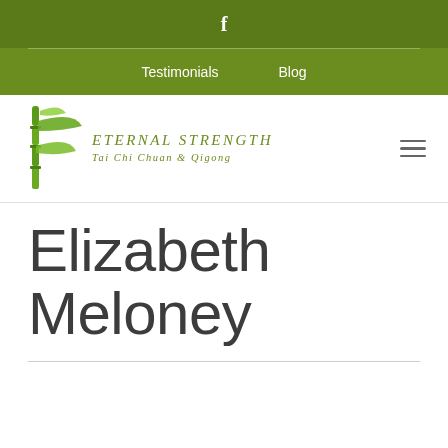f
Testimonials   Blog
[Figure (logo): Eternal Strength Tai Chi Chuan & Qigong logo with bamboo illustration]
Elizabeth Meloney